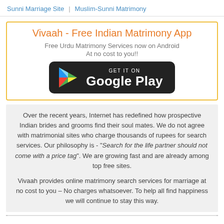Sunni Marriage Site | Muslim-Sunni Matrimony
Vivaah - Free Indian Matrimony App
Free Urdu Matrimony Services now on Android
At no cost to you!!
[Figure (other): Google Play Store download button with triangular Play logo]
Over the recent years, Internet has redefined how prospective Indian brides and grooms find their soul mates. We do not agree with matrimonial sites who charge thousands of rupees for search services. Our philosophy is - "Search for the life partner should not come with a price tag". We are growing fast and are already among top free sites.
Vivaah provides online matrimony search services for marriage at no cost to you – No charges whatsoever. To help all find happiness we will continue to stay this way.